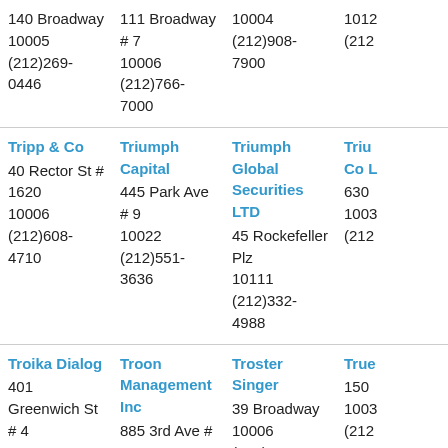140 Broadway
10005
(212)269-0446
111 Broadway # 7
10006
(212)766-7000
10004
(212)908-7900
1012
(212
Tripp & Co
40 Rector St # 1620
10006
(212)608-4710
Triumph Capital
445 Park Ave # 9
10022
(212)551-3636
Triumph Global Securities LTD
45 Rockefeller Plz
10111
(212)332-4988
Triu
Co L
630
1003
(212
Troika Dialog
401 Greenwich St # 4
10013
(212)661-1333
Troon Management Inc
885 3rd Ave # 1780
10022
(212)230-2424
Troster Singer
39 Broadway
10006
(212)425-6670
True
150
1003
(212
True North Capital
375 Park Ave
10152
(212)751-1444
Trust Co Of The West
200 Park Ave # 2200
10166
Truth Will Prosper
100 W 141st St # 28
10030
(212)690-5211
TSC
1 Ex
1000
(212